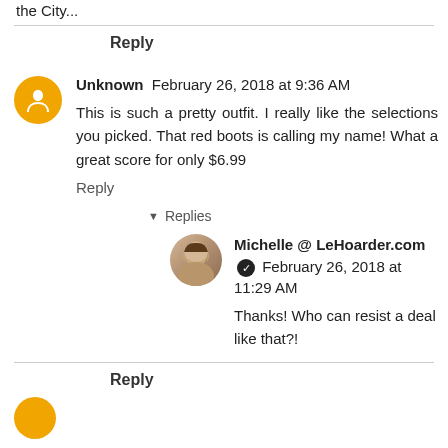the City...
Reply
Unknown  February 26, 2018 at 9:36 AM
This is such a pretty outfit. I really like the selections you picked. That red boots is calling my name! What a great score for only $6.99
Reply
Replies
Michelle @ LeHoarder.com  February 26, 2018 at 11:29 AM
Thanks! Who can resist a deal like that?!
Reply